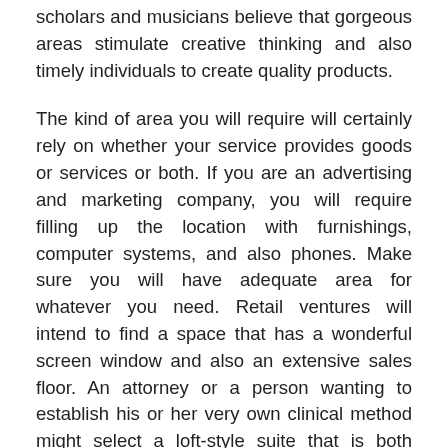scholars and musicians believe that gorgeous areas stimulate creative thinking and also timely individuals to create quality products.
The kind of area you will require will certainly rely on whether your service provides goods or services or both. If you are an advertising and marketing company, you will require filling up the location with furnishings, computer systems, and also phones. Make sure you will have adequate area for whatever you need. Retail ventures will intend to find a space that has a wonderful screen window and also an extensive sales floor. An attorney or a person wanting to establish his or her very own clinical method might select a loft-style suite that is both sizable and welcoming. In order to make the appropriate decision about a workplace for lease, an individual will certainly want to factor the rental fee into all of the typical expenditures that their business has to look after each